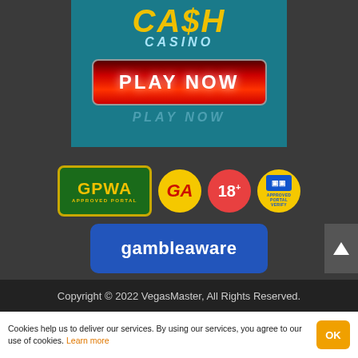[Figure (screenshot): Cash Casino banner with teal background showing 'CA$H CASINO' logo and a red 'PLAY NOW' button]
[Figure (logo): GPWA Approved Portal green badge with yellow border]
[Figure (logo): GA circle badge on yellow background]
[Figure (logo): 18+ red circle badge]
[Figure (logo): Approved Portal blue square icon on yellow circle]
[Figure (logo): gambleaware blue rounded rectangle logo]
Copyright © 2022 VegasMaster, All Rights Reserved.
Cookies help us to deliver our services. By using our services, you agree to our use of cookies. Learn more